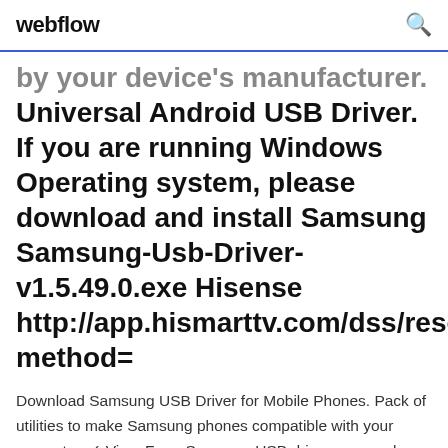webflow
by your device's manufacturer. Universal Android USB Driver. If you are running Windows Operating system, please download and install Samsung Samsung-Usb-Driver-v1.5.49.0.exe Hisense http://app.hismarttv.com/dss/resource method=
Download Samsung USB Driver for Mobile Phones. Pack of utilities to make Samsung phones compatible with your computer. ✓ Virus Free. Samsung USB drivers come along